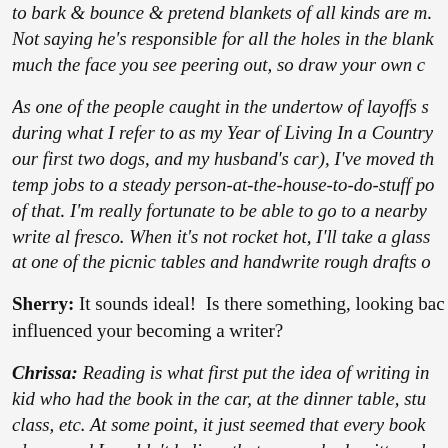to bark & bounce & pretend blankets of all kinds are m. Not saying he's responsible for all the holes in the blank much the face you see peering out, so draw your own c
As one of the people caught in the undertow of layoffs s during what I refer to as my Year of Living In a Country our first two dogs, and my husband's car), I've moved th temp jobs to a steady person-at-the-house-to-do-stuff po of that. I'm really fortunate to be able to go to a nearby write al fresco. When it's not rocket hot, I'll take a glass at one of the picnic tables and handwrite rough drafts o
Sherry: It sounds ideal!  Is there something, looking bac influenced your becoming a writer?
Chrissa: Reading is what first put the idea of writing in kid who had the book in the car, at the dinner table, stu class, etc. At some point, it just seemed that every book places and I couldn't believe that no one had written ab stuff that existed around me. (There weren't any "local d the bookstores I encountered growing up). Looking at th